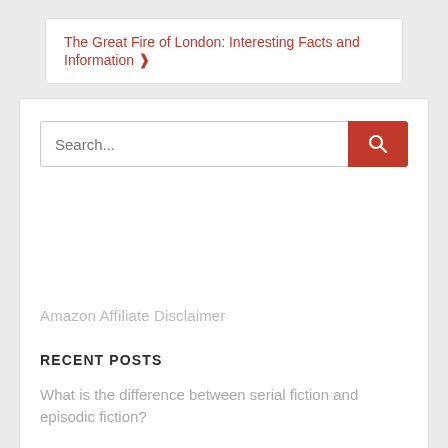The Great Fire of London: Interesting Facts and Information ❯
[Figure (screenshot): Search bar with text input field showing placeholder 'Search...' and a red search button with magnifying glass icon]
Amazon Affiliate Disclaimer
RECENT POSTS
What is the difference between serial fiction and episodic fiction?